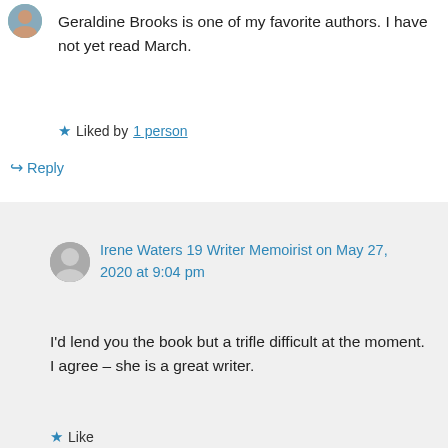Geraldine Brooks is one of my favorite authors. I have not yet read March.
★ Liked by 1 person
↪ Reply
Irene Waters 19 Writer Memoirist on May 27, 2020 at 9:04 pm
I'd lend you the book but a trifle difficult at the moment. I agree – she is a great writer.
★ Like
↪ Reply